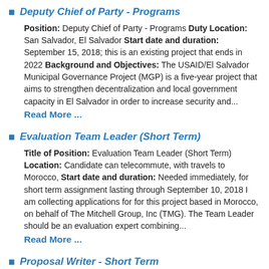Deputy Chief of Party - Programs
Position: Deputy Chief of Party - Programs Duty Location: San Salvador, El Salvador Start date and duration: September 15, 2018; this is an existing project that ends in 2022 Background and Objectives: The USAID/El Salvador Municipal Governance Project (MGP) is a five-year project that aims to strengthen decentralization and local government capacity in El Salvador in order to increase security and...
Read More ...
Evaluation Team Leader (Short Term)
Title of Position: Evaluation Team Leader (Short Term) Location: Candidate can telecommute, with travels to Morocco, Start date and duration: Needed immediately, for short term assignment lasting through September 10, 2018 I am collecting applications for for this project based in Morocco, on behalf of The Mitchell Group, Inc (TMG). The Team Leader should be an evaluation expert combining...
Read More ...
Proposal Writer - Short Term